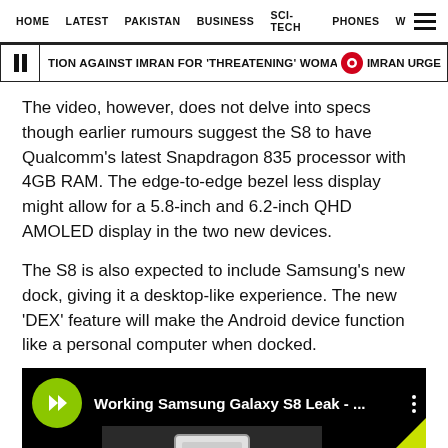HOME   LATEST   PAKISTAN   BUSINESS   SCI-TECH   PHONES   W ☰
TION AGAINST IMRAN FOR 'THREATENING' WOMAN JUDGE, POLICE  🔴  IMRAN URGE
The video, however, does not delve into specs though earlier rumours suggest the S8 to have Qualcomm's latest Snapdragon 835 processor with 4GB RAM. The edge-to-edge bezel less display might allow for a 5.8-inch and 6.2-inch QHD AMOLED display in the two new devices.
The S8 is also expected to include Samsung's new dock, giving it a desktop-like experience. The new 'DEX' feature will make the Android device function like a personal computer when docked.
[Figure (screenshot): Video thumbnail for 'Working Samsung Galaxy S8 Leak - ...' with a green play button on black background and a partial device image]